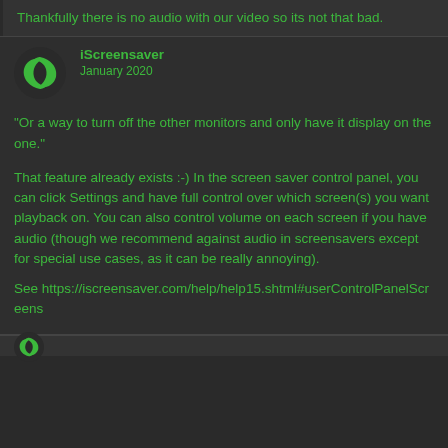Thankfully there is no audio with our video so its not that bad.
[Figure (logo): iScreensaver green swirl logo avatar]
iScreensaver
January 2020
“Or a way to turn off the other monitors and only have it display on the one.”
That feature already exists :-) In the screen saver control panel, you can click Settings and have full control over which screen(s) you want playback on. You can also control volume on each screen if you have audio (though we recommend against audio in screensavers except for special use cases, as it can be really annoying).
See https://iscreensaver.com/help/help15.shtml#userControlPanelScreens